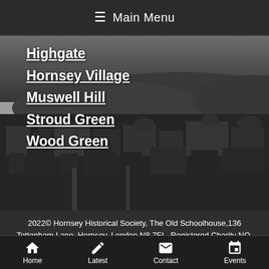≡ Main Menu
Highgate
Hornsey Village
Muswell Hill
Stroud Green
Wood Green
[Figure (photo): Black and white aerial panoramic photograph of a hilly urban area, showing rooftops, trees, and buildings]
2022© Hornsey Historical Society, The Old Schoolhouse,136 Tottenham Lane, Hornsey, London N8 7EL, Registered Charity NO. 274424
Accessibility Statement
Sitemap
Home | Latest | Contact | Events